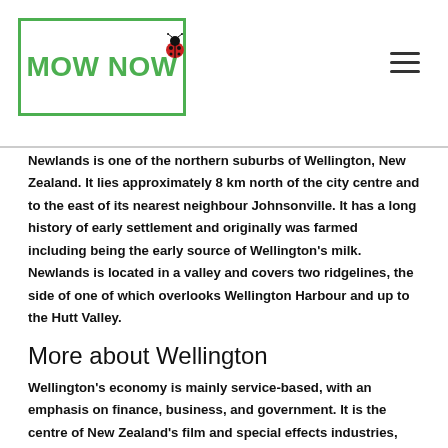MOW NOW
Newlands is one of the northern suburbs of Wellington, New Zealand. It lies approximately 8 km north of the city centre and to the east of its nearest neighbour Johnsonville. It has a long history of early settlement and originally was farmed including being the early source of Wellington's milk. Newlands is located in a valley and covers two ridgelines, the side of one of which overlooks Wellington Harbour and up to the Hutt Valley.
More about Wellington
Wellington's economy is mainly service-based, with an emphasis on finance, business, and government. It is the centre of New Zealand's film and special effects industries, and a hub for IT and innovation. Wellington is one of New